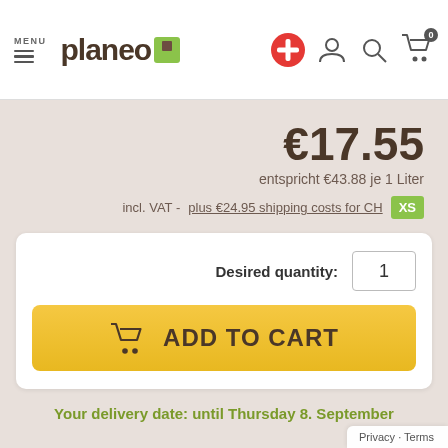MENU — planeo
€17.55
entspricht €43.88 je 1 Liter
incl. VAT - plus €24.95 shipping costs for CH  XS
Desired quantity: 1
ADD TO CART
Your delivery date: until Thursday 8. September
Privacy · Terms